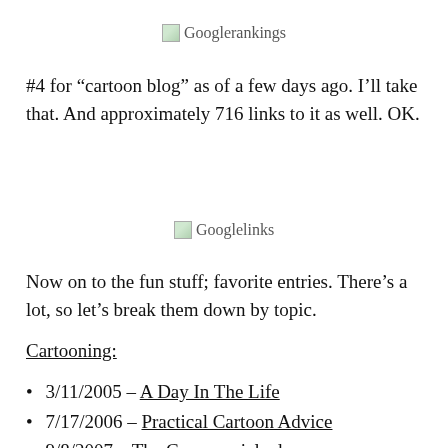[Figure (other): Broken image placeholder labeled 'Googlerankings']
#4 for “cartoon blog” as of a few days ago. I’ll take that. And approximately 716 links to it as well. OK.
[Figure (other): Broken image placeholder labeled 'Googlelinks']
Now on to the fun stuff; favorite entries. There’s a lot, so let’s break them down by topic.
Cartooning:
3/11/2005 – A Day In The Life
7/17/2006 – Practical Cartoon Advice
9/8/2007 – [partially visible]